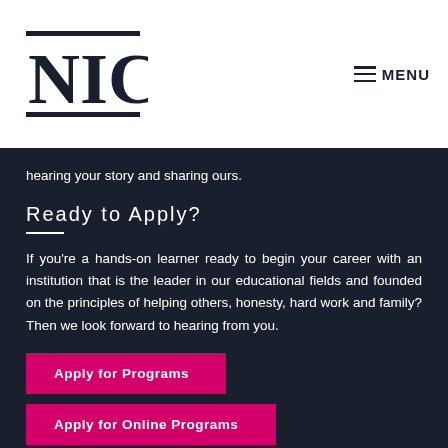[Figure (logo): NIC logo - block letters N, I, C in serif font with horizontal lines top and bottom]
≡ MENU
hearing your story and sharing ours.
Ready to Apply?
If you're a hands-on learner ready to begin your career with an institution that is the leader in our educational fields and founded on the principles of helping others, honesty, hard work and family? Then we look forward to hearing from you.
Apply for Programs
Apply for Online Programs
Apply for Teen Camps